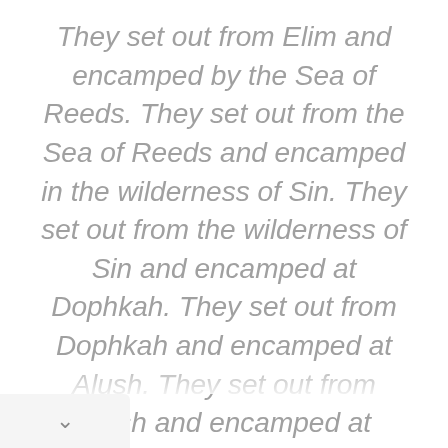They set out from Elim and encamped by the Sea of Reeds. They set out from the Sea of Reeds and encamped in the wilderness of Sin. They set out from the wilderness of Sin and encamped at Dophkah. They set out from Dophkah and encamped at Alush. They set out from Alush and encamped at Rephidim; it was there that the people had no